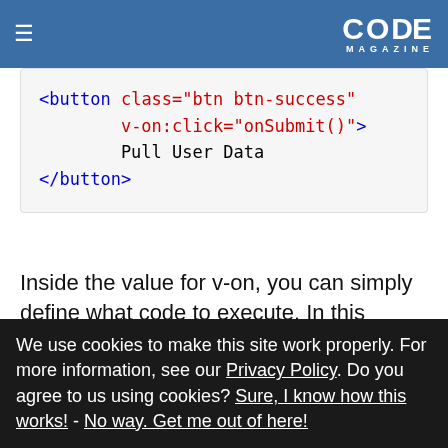CODE MAGAZINE
[Figure (screenshot): Code snippet showing HTML button element with class btn btn-success and v-on:click=onSubmit() attribute, containing text Pull User Data]
Inside the value for v-on, you can simply define what code to execute. In this example, you can just call a method on the Vue object. So now you can add the onSubmit method on the Vue object like so:
[Figure (screenshot): Partial code block at bottom of visible area]
We use cookies to make this site work properly. For more information, see our Privacy Policy. Do you agree to us using cookies? Sure, I know how this works! - No way. Get me out of here!